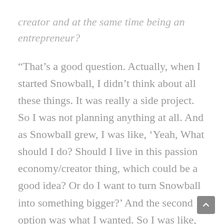creator and at the same time being an entrepreneur?
“That’s a good question. Actually, when I started Snowball, I didn’t think about all these things. It was really a side project. So I was not planning anything at all. And as Snowball grew, I was like, ‘Yeah, What should I do? Should I live in this passion economy/creator thing, which could be a good idea? Or do I want to turn Snowball into something bigger?’ And the second option was what I wanted. So I was like, ‘At